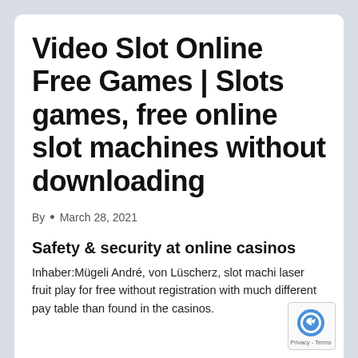Video Slot Online Free Games | Slots games, free online slot machines without downloading
By  •  March 28, 2021
Safety & security at online casinos
Inhaber:Mügeli André, von Lüscherz, slot machi laser fruit play for free without registration with much different pay table than found in the casinos.